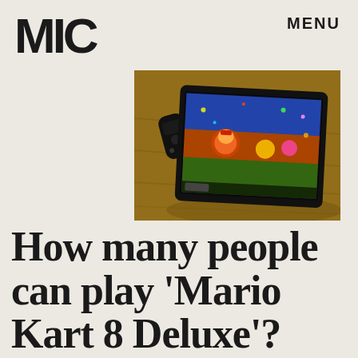MIC   MENU
[Figure (photo): Nintendo Switch tablet showing Mario Kart 8 Deluxe game on screen, lying on a wooden surface with Joy-Con controller detached beside it]
How many people can play 'Mario Kart 8 Deluxe'? Find out here.